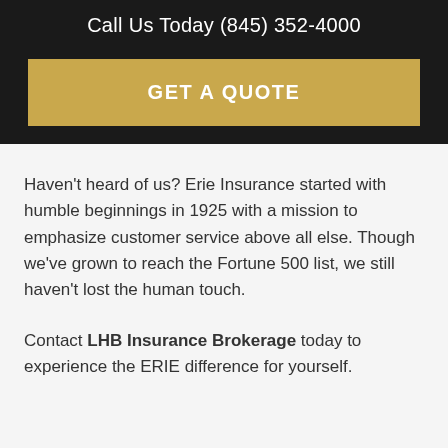Call Us Today (845) 352-4000
GET A QUOTE
Haven't heard of us? Erie Insurance started with humble beginnings in 1925 with a mission to emphasize customer service above all else. Though we've grown to reach the Fortune 500 list, we still haven't lost the human touch.
Contact LHB Insurance Brokerage today to experience the ERIE difference for yourself.